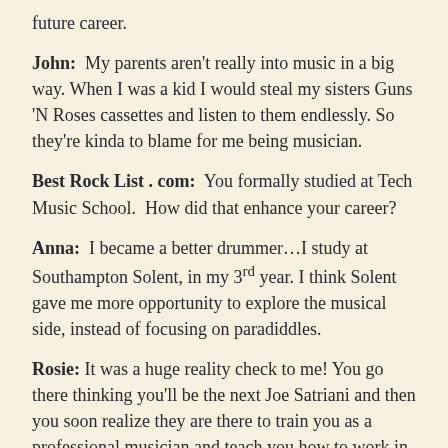future career.
John: My parents aren't really into music in a big way. When I was a kid I would steal my sisters Guns 'N Roses cassettes and listen to them endlessly. So they're kinda to blame for me being musician.
Best Rock List . com: You formally studied at Tech Music School. How did that enhance your career?
Anna: I became a better drummer…I study at Southampton Solent, in my 3rd year. I think Solent gave me more opportunity to explore the musical side, instead of focusing on paradiddles.
Rosie: It was a huge reality check to me! You go there thinking you'll be the next Joe Satriani and then you soon realize they are there to train you as a professional musician and teach you how to work in the